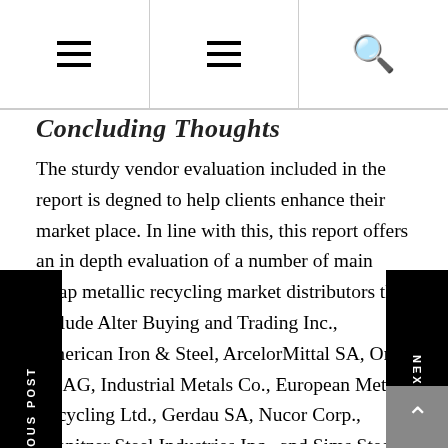Navigation bar with hamburger menus and search icon
Concluding Thoughts
The sturdy vendor evaluation included in the report is designed to help clients enhance their market place. In line with this, this report offers an in depth evaluation of a number of main scrap metallic recycling market distributors that include Alter Buying and Trading Inc., American Iron & Steel, ArcelorMittal SA, Orbis AG, Industrial Metals Co., European Metal Recycling Ltd., Gerdau SA, Nucor Corp., Schnitzer Steel Industries Inc., and Sims Steel Administration Ltd. lets you create beautiful websites and blogs, and we'd love so that you can use it. A account additionally permits you to interact from from the Besides